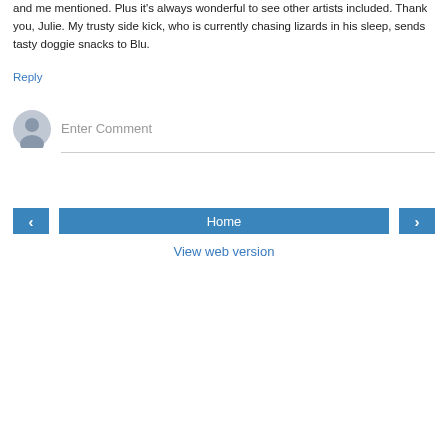and me mentioned. Plus it's always wonderful to see other artists included. Thank you, Julie. My trusty side kick, who is currently chasing lizards in his sleep, sends tasty doggie snacks to Blu.
Reply
[Figure (illustration): Gray user avatar circle icon for comment entry]
Enter Comment
‹
Home
›
View web version